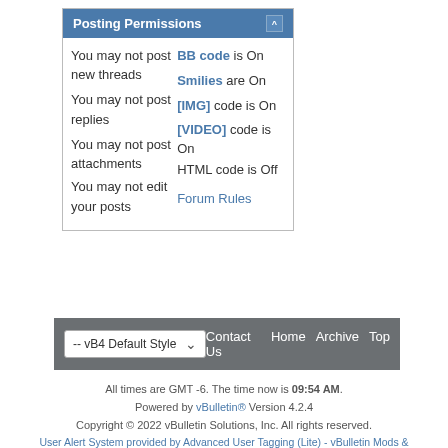|  |  |
| --- | --- |
| You may not post new threads | BB code is On |
| You may not post replies | Smilies are On |
| You may not post attachments | [IMG] code is On |
| You may not edit your posts | [VIDEO] code is On |
|  | HTML code is Off |
|  | Forum Rules |
-- vB4 Default Style   Contact Us   Home   Archive   Top
All times are GMT -6. The time now is 09:54 AM.
Powered by vBulletin® Version 4.2.4
Copyright © 2022 vBulletin Solutions, Inc. All rights reserved.
User Alert System provided by Advanced User Tagging (Lite) - vBulletin Mods & Addons Copyright © 2022 DragonByte Technologies Ltd.